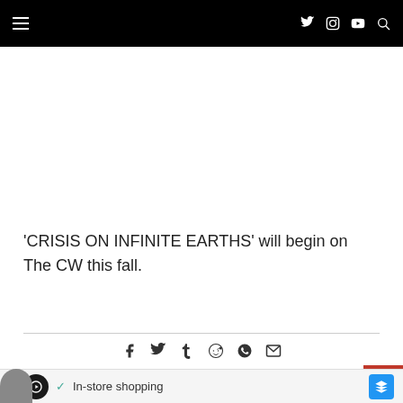Navigation bar with hamburger menu, Twitter, Instagram, YouTube, and Search icons
'CRISIS ON INFINITE EARTHS' will begin on The CW this fall.
[Figure (other): Social share icons row: Facebook, Twitter, Tumblr, Reddit, WhatsApp, Email]
[Figure (other): Advertisement banner: In-store shopping ad with logo and arrow icon]